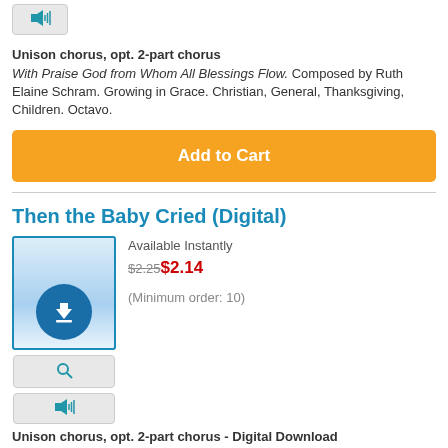[Figure (other): Audio/speaker button icon]
Unison chorus, opt. 2-part chorus
With Praise God from Whom All Blessings Flow. Composed by Ruth Elaine Schram. Growing in Grace. Christian, General, Thanksgiving, Children. Octavo.
Add to Cart
Then the Baby Cried (Digital)
[Figure (other): Digital download product image with blue download icon circle]
[Figure (other): Magnify/search button icon]
[Figure (other): Audio/speaker button icon]
Available Instantly
$2.25$2.14
(Minimum order: 10)
Unison chorus, opt. 2-part chorus - Digital Download
Composed by Aren Newell Williams and Ruth Elaine Schram. Growing in Grace. Christian, Advent, Christmas, Children. Octavo. 10 pages. Celebrating Grace -